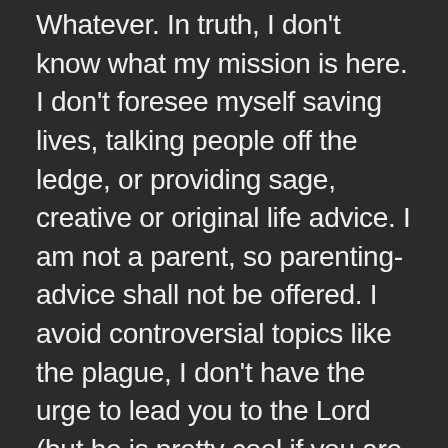Whatever. In truth, I don't know what my mission is here. I don't foresee myself saving lives, talking people off the ledge, or providing sage, creative or original life advice. I am not a parent, so parenting-advice shall not be offered. I avoid controversial topics like the plague, I don't have the urge to lead you to the Lord (but he is pretty cool if you are open to the idea), and I have no idea on how to teach, craft, DIY, counsel, or even really advise. But I can repeat what I have learned, I can tell stories, and (sometimes) I can make people laugh. Writing makes me happy. I hope my writing makes you happy. So buckle up, strap in, glue your helmet to your damn head, empty your bladder and do whatever it is that you have to do to prepare for a ride.. a wild ride. A star-studded, bronc bucking, rodeo type